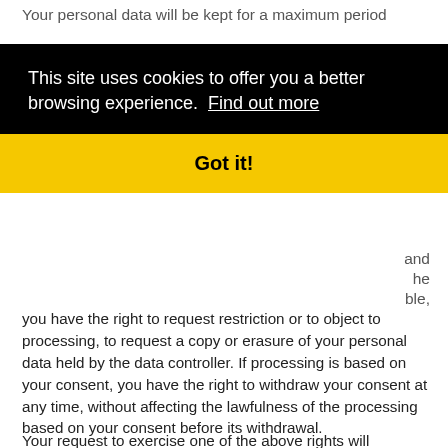Your personal data will be kept for a maximum period
[Figure (screenshot): Cookie consent banner overlay with black background containing text 'This site uses cookies to offer you a better browsing experience. Find out more' and a yellow button bar with 'Got it!']
you have the right to request restriction or to object to processing, to request a copy or erasure of your personal data held by the data controller. If processing is based on your consent, you have the right to withdraw your consent at any time, without affecting the lawfulness of the processing based on your consent before its withdrawal.
Your request to exercise one of the above rights will be dealt without undue delay and within one month.
You also are aware that the number of